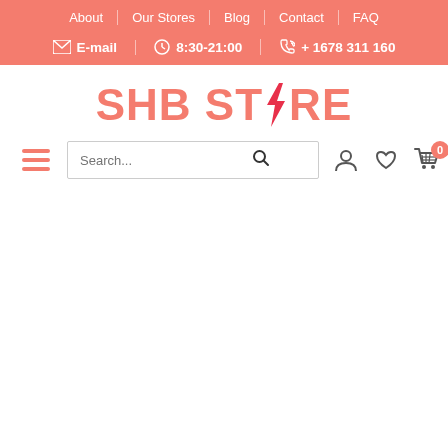About | Our Stores | Blog | Contact | FAQ
E-mail | 8:30-21:00 | + 1678 311 160
SHB STORE
Search...